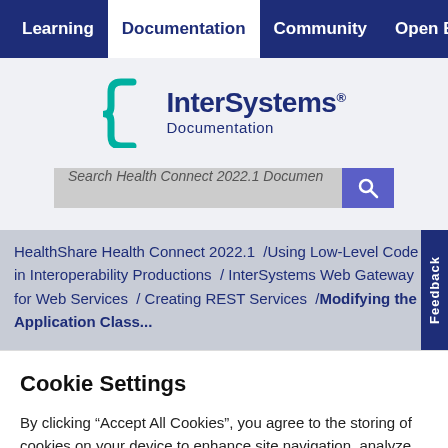Learning  Documentation  Community  Open Excha
[Figure (logo): InterSystems Documentation logo with teal bracket icon and dark blue text reading 'InterSystems' and 'Documentation']
Search Health Connect 2022.1 Documen
HealthShare Health Connect 2022.1  /Using Low-Level Code in Interoperability Productions  / InterSystems Web Gateway for Web Services  / Creating REST Services  /Modifying the ...
Cookie Settings
By clicking “Accept All Cookies”, you agree to the storing of cookies on your device to enhance site navigation, analyze site usage, and assist in our marketing efforts.